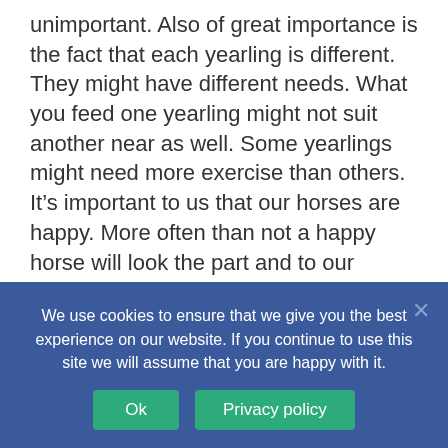unimportant. Also of great importance is the fact that each yearling is different. They might have different needs. What you feed one yearling might not suit another near as well. Some yearlings might need more exercise than others. It's important to us that our horses are happy. More often than not a happy horse will look the part and to our feeling, probably perform better once it leaves us for the job for which it is intended.

“Rob can finish off a horse exceptionally well. Just as Rob has learned so much in following in
We use cookies to ensure that we give you the best experience on our website. If you continue to use this site we will assume that you are happy with it.